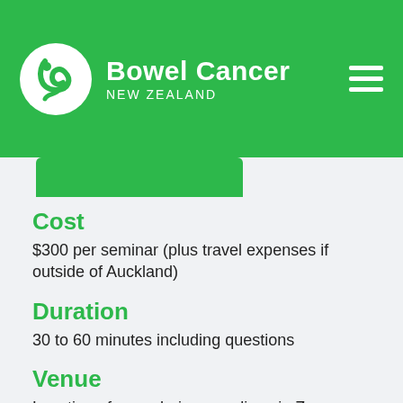[Figure (logo): Bowel Cancer New Zealand logo with white swirl icon on green background, organization name in white bold text]
Cost
$300 per seminar (plus travel expenses if outside of Auckland)
Duration
30 to 60 minutes including questions
Venue
Location of your choice or online via Zoom
Resources
Presentation folder includes a set of Bowel Cancer NZ education resources. We